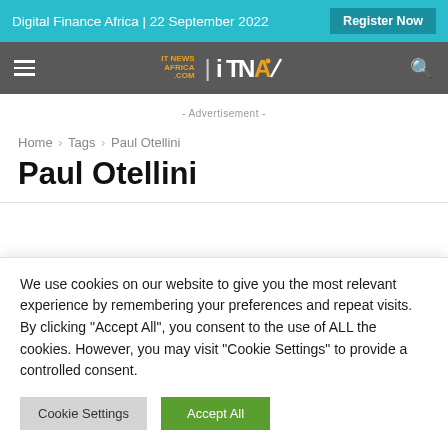Digital Finance Africa | 22 September 2022  Register Now
[Figure (logo): IT News Africa ITNA logo with navigation bar including hamburger menu and search icon]
- Advertisement -
Home › Tags › Paul Otellini
Paul Otellini
We use cookies on our website to give you the most relevant experience by remembering your preferences and repeat visits. By clicking "Accept All", you consent to the use of ALL the cookies. However, you may visit "Cookie Settings" to provide a controlled consent.